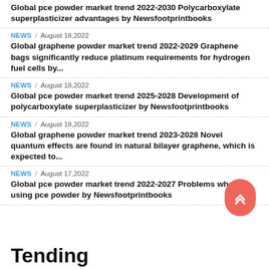Global pce powder market trend 2022-2030 Polycarboxylate superplasticizer advantages by Newsfootprintbooks
NEWS / August 18,2022
Global graphene powder market trend 2022-2029 Graphene bags significantly reduce platinum requirements for hydrogen fuel cells by...
NEWS / August 18,2022
Global pce powder market trend 2025-2028 Development of polycarboxylate superplasticizer by Newsfootprintbooks
NEWS / August 18,2022
Global graphene powder market trend 2023-2028 Novel quantum effects are found in natural bilayer graphene, which is expected to...
NEWS / August 17,2022
Global pce powder market trend 2022-2027 Problems when using pce powder by Newsfootprintbooks
Tending